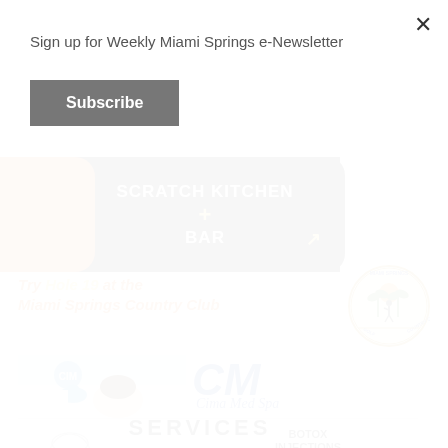Sign up for Weekly Miami Springs e-Newsletter
[Figure (screenshot): Subscribe button — dark grey rectangular button with white bold text 'Subscribe']
[Figure (logo): Scratch Kitchen + Bar logo: dark background with white bold text 'SCRATCH KITCHEN + BAR', yellow arrow, orange decorative elements]
[Figure (logo): Miami Springs Golf & Country Club circular logo with palm trees, golfer silhouette, sunset. Text around circle reads 'MIAMI SPRINGS GOLF & COUNTRY CLUB']
Try Hole 19 at the Miami Springs Country Club
[Figure (photo): Medical professional performing injection treatment on patient's forehead, wearing blue gloves and white coat. Cima Med Spa logo visible.]
[Figure (logo): CM Cima Med Spa logo — large blue italic CM letters with script text 'Cima Med Spa' underneath]
SERVICES
BOTOX INJECTIONS • Forehead
[Figure (illustration): Outline illustration of a woman's face/head profile]